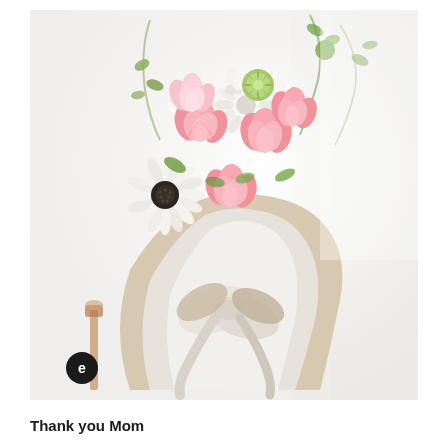[Figure (photo): A flower bouquet with pink carnations, white gerbera daisies, white spider mums, baby's breath and green foliage, wrapped in layered beige and white tissue paper wrapping with a bow, sitting on a stand. A small circular icon with the letter 'e' is visible in the lower left of the image. Light airy background with soft natural light and sheer curtains.]
Thank you Mom